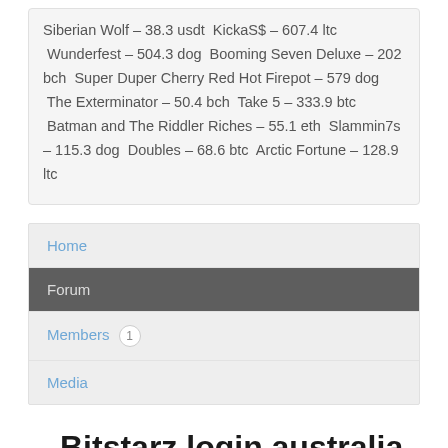Siberian Wolf – 38.3 usdt  KickaS$ – 607.4 ltc  Wunderfest – 504.3 dog  Booming Seven Deluxe – 202 bch  Super Duper Cherry Red Hot Firepot – 579 dog  The Exterminator – 50.4 bch  Take 5 – 333.9 btc  Batman and The Riddler Riches – 55.1 eth  Slammin7s – 115.3 dog  Doubles – 68.6 btc  Arctic Fortune – 128.9 ltc
Home
Forum
Members  1
Media
Bitstarz login australia, bitstarz 30 free spin